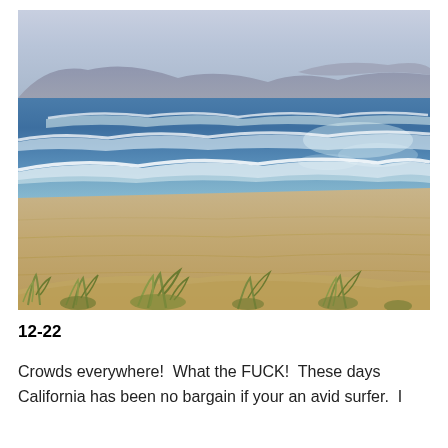[Figure (photo): Coastal beach scene with sandy dunes in the foreground with sparse green plants, ocean waves breaking on the shore in the middle, blue water with whitecaps, and mountains or hills in the background under a hazy sky.]
12-22
Crowds everywhere!  What the FUCK!  These days California has been no bargain if your an avid surfer.  I